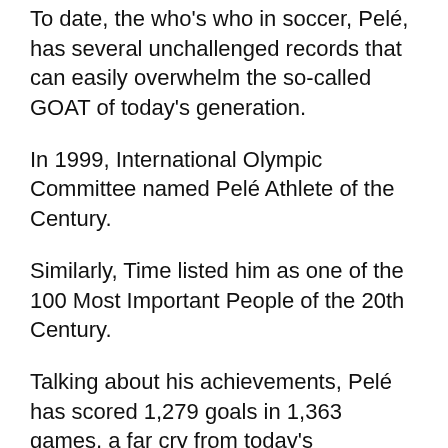To date, the who's who in soccer, Pelé, has several unchallenged records that can easily overwhelm the so-called GOAT of today's generation.
In 1999, International Olympic Committee named Pelé Athlete of the Century.
Similarly, Time listed him as one of the 100 Most Important People of the 20th Century.
Talking about his achievements, Pelé has scored 1,279 goals in 1,363 games, a far cry from today's generation's players reach.
The number is also recognized as a Guinness World Record.